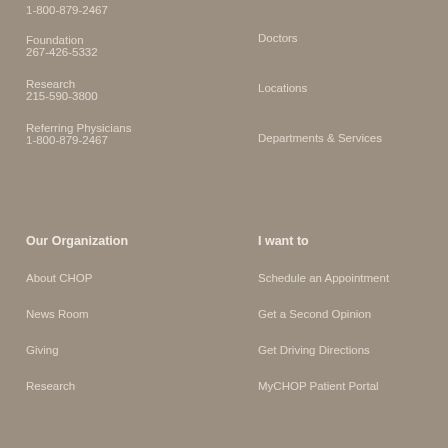1-800-879-2467
Doctors
Foundation
267-426-5332
Locations
Research
215-590-3800
Departments & Services
Referring Physicians
1-800-879-2467
Our Organization
I want to
About CHOP
Schedule an Appointment
News Room
Get a Second Opinion
Giving
Get Driving Directions
Research
MyCHOP Patient Portal